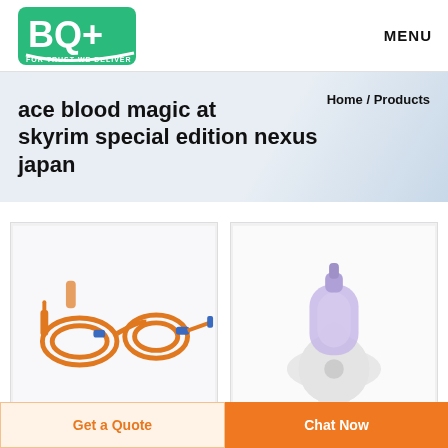BQ+ FOR TRUST WE DELIVER | MENU
ace blood magic at skyrim special edition nexus japan
Home / Products
[Figure (photo): IV infusion set with orange tubing coiled and connected with blue connectors on white background]
[Figure (photo): Medical device component - purple/clear plastic tube or connector with white star-shaped base, close-up product photo]
Get a Quote
Chat Now